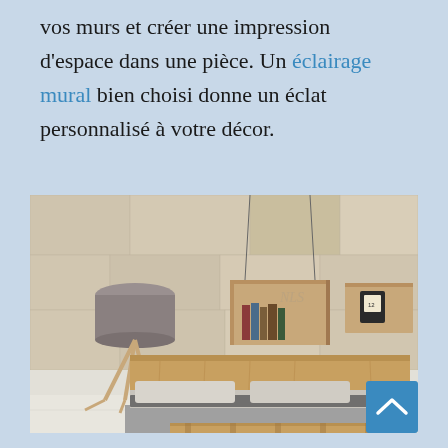vos murs et créer une impression d'espace dans une pièce. Un éclairage mural bien choisi donne un éclat personnalisé à votre décor.
[Figure (photo): Modern Scandinavian bedroom interior with a wooden platform bed, grey bedding, a floor lamp with tripod wooden legs and grey drum shade, wooden wall-mounted shelving units containing books and a clock, against a textured stone-look wall. A blue scroll-to-top button is overlaid in the bottom right corner.]